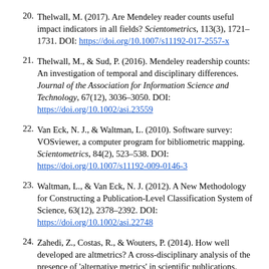20. Thelwall, M. (2017). Are Mendeley reader counts useful impact indicators in all fields? Scientometrics, 113(3), 1721–1731. DOI: https://doi.org/10.1007/s11192-017-2557-x
21. Thelwall, M., & Sud, P. (2016). Mendeley readership counts: An investigation of temporal and disciplinary differences. Journal of the Association for Information Science and Technology, 67(12), 3036–3050. DOI: https://doi.org/10.1002/asi.23559
22. Van Eck, N. J., & Waltman, L. (2010). Software survey: VOSviewer, a computer program for bibliometric mapping. Scientometrics, 84(2), 523–538. DOI: https://doi.org/10.1007/s11192-009-0146-3
23. Waltman, L., & Van Eck, N. J. (2012). A New Methodology for Constructing a Publication-Level Classification System of Science, 63(12), 2378–2392. DOI: https://doi.org/10.1002/asi.22748
24. Zahedi, Z., Costas, R., & Wouters, P. (2014). How well developed are altmetrics? A cross-disciplinary analysis of the presence of 'alternative metrics' in scientific publications. Scientometrics, 101(2), 1491–1513. DOI: https://doi.org/10.1007/s11192-014-1264-0